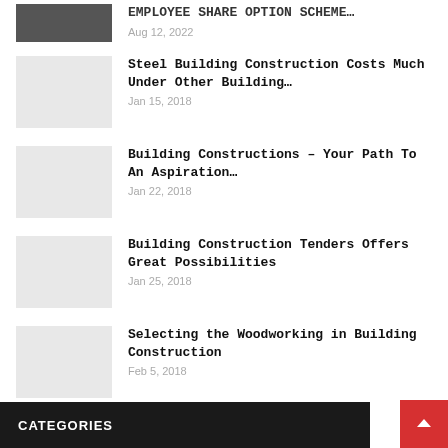EMPLOYEE SHARE OPTION SCHEME… Aug 12, 2022
Steel Building Construction Costs Much Under Other Building… Jan 15, 2018
Building Constructions – Your Path To An Aspiration… Jan 22, 2018
Building Construction Tenders Offers Great Possibilities Jan 25, 2018
Selecting the Woodworking in Building Construction Feb 5, 2018
CATEGORIES